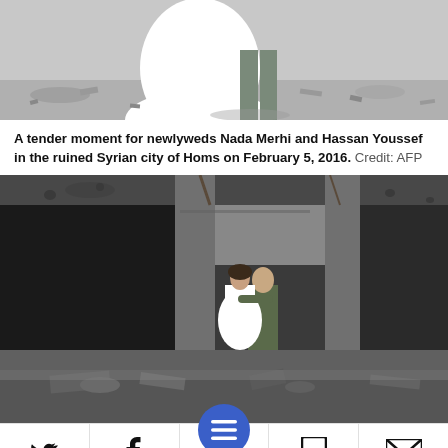[Figure (photo): Top portion of a black-and-white photo showing a bride in a white wedding dress with a groom in military uniform, standing on rubble in Homs, Syria.]
A tender moment for newlyweds Nada Merhi and Hassan Youssef in the ruined Syrian city of Homs on February 5, 2016.  Credit: AFP
[Figure (photo): Color photo showing newlywed couple Nada Merhi in a white wedding dress and Hassan Youssef in military camouflage uniform, standing inside the shell of a destroyed building in Homs, Syria. The building has large holes and rubble everywhere.]
Social media toolbar with Twitter, Facebook, menu (hamburger), bookmark, and email icons.